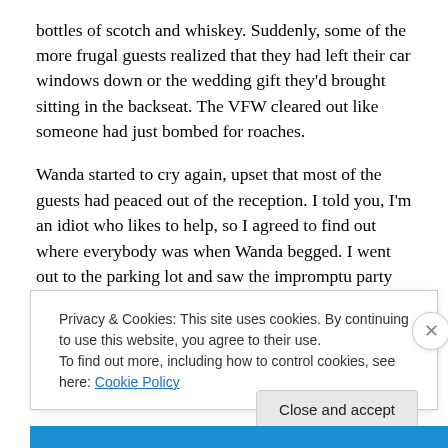bottles of scotch and whiskey. Suddenly, some of the more frugal guests realized that they had left their car windows down or the wedding gift they'd brought sitting in the backseat. The VFW cleared out like someone had just bombed for roaches.
Wanda started to cry again, upset that most of the guests had peaced out of the reception. I told you, I'm an idiot who likes to help, so I agreed to find out where everybody was when Wanda begged. I went out to the parking lot and saw the impromptu party going on, and suddenly,
Privacy & Cookies: This site uses cookies. By continuing to use this website, you agree to their use.
To find out more, including how to control cookies, see here: Cookie Policy
Close and accept